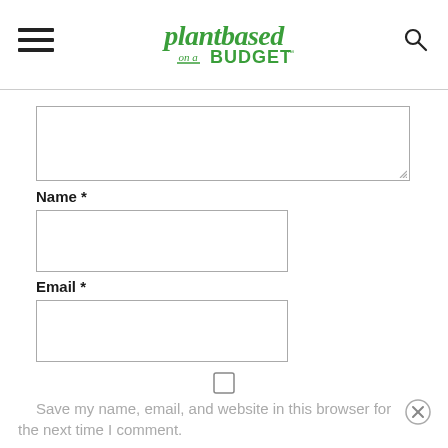plantbased on a BUDGET
[Comment textarea]
Name *
[Name input field]
Email *
[Email input field]
Save my name, email, and website in this browser for the next time I comment.